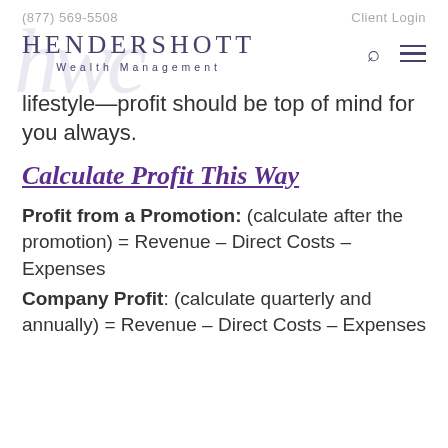(877) 569-5508    Client Login
[Figure (logo): Hendershott Wealth Management logo with decorative watermark initials, search icon, and hamburger menu icon]
lifestyle—profit should be top of mind for you always.
Calculate Profit This Way
Profit from a Promotion: (calculate after the promotion) = Revenue – Direct Costs – Expenses
Company Profit: (calculate quarterly and annually) = Revenue – Direct Costs – Expenses